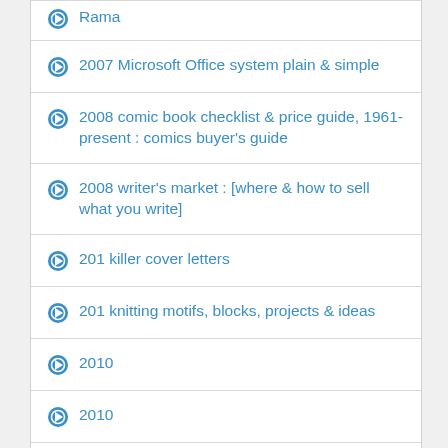Rama
2007 Microsoft Office system plain & simple
2008 comic book checklist & price guide, 1961-present : comics buyer's guide
2008 writer's market : [where & how to sell what you write]
201 killer cover letters
201 knitting motifs, blocks, projects & ideas
2010
2010
2010, odyssey 2
2010, odyssey two
2010 : science or superstition